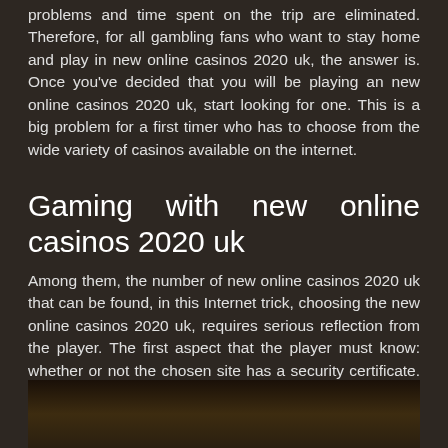problems and time spent on the trip are eliminated. Therefore, for all gambling fans who want to stay home and play in new online casinos 2020 uk, the answer is. Once you've decided that you will be playing an new online casinos 2020 uk, start looking for one. This is a big problem for a first timer who has to choose from the wide variety of casinos available on the internet.
Gaming with new online casinos 2020 uk
Among them, the number of new online casinos 2020 uk that can be found, in this Internet trick, choosing the new online casinos 2020 uk, requires serious reflection from the player. The first aspect that the player must know: whether or not the chosen site has a security certificate. This is very important. If the site has a security certificate, it will offer peace of mind. You will not have to worry about misuse of the personal data you have provided. If the site does not have a security certificate, you must leave the site immediately.
[Figure (photo): Dark interior scene, possibly a dimly lit room or vehicle interior with warm amber/yellow tones]